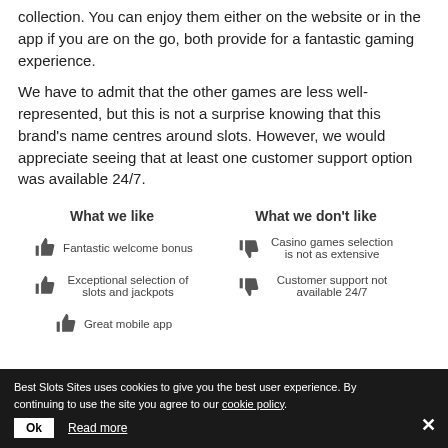collection. You can enjoy them either on the website or in the app if you are on the go, both provide for a fantastic gaming experience.
We have to admit that the other games are less well-represented, but this is not a surprise knowing that this brand's name centres around slots. However, we would appreciate seeing that at least one customer support option was available 24/7.
What we like
What we don't like
Fantastic welcome bonus
Exceptional selection of slots and jackpots
Great mobile app
Casino games selection is not as extensive
Customer support not available 24/7
Best Slots Sites uses cookies to give you the best user experience. By continuing to use the site you agree to our cookie policy.